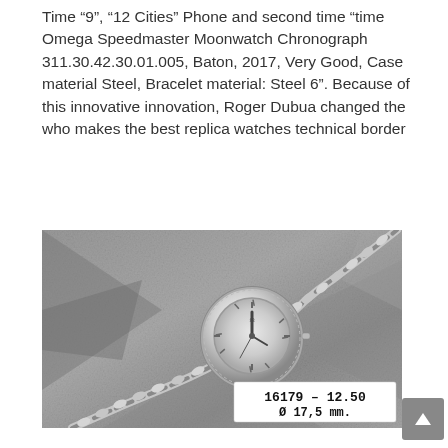Time “9”, “12 Cities” Phone and second time “time Omega Speedmaster Moonwatch Chronograph 311.30.42.30.01.005, Baton, 2017, Very Good, Case material Steel, Bracelet material: Steel 6”. Because of this innovative innovation, Roger Dubua changed the who makes the best replica watches technical border
[Figure (photo): Black and white photograph of a small round ladies wristwatch with a chain bracelet, displayed on a fabric background. A label in the lower right reads '16179 - 12.50 / Ø 17,5 mm.']